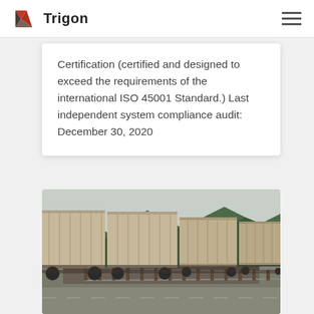Trigon
Certification (certified and designed to exceed the requirements of the international ISO 45001 Standard.) Last independent system compliance audit: December 30, 2020
[Figure (photo): A long freight train with beige/tan container cars on a rail track, with forested mountains in the background and a road alongside.]